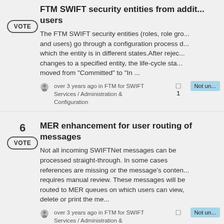FTM SWIFT security entities from additional users
The FTM SWIFT security entities (roles, role gro... and users) go through a configuration process d... which the entity is in different states.After rejec... changes to a specified entity, the life-cycle sta... moved from "Committed" to "In ...
over 3 years ago in FTM for SWIFT Services / Administration & Configuration
MER enhancement for user routing of messages
Not all incoming SWIFTNet messages can be processed straight-through. In some cases references are missing or the message's conten... requires manual review. These messages will be routed to MER queues on which users can view, delete or print the me...
over 3 years ago in FTM for SWIFT Services / Administration &